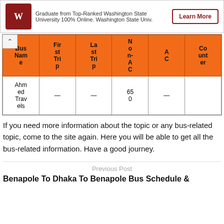[Figure (infographic): Ad banner with Washington State University logo, text about graduating online, and a Learn More button]
| Bus Name | First Trip | Last Trip | Non-AC | AC | Counter |
| --- | --- | --- | --- | --- | --- |
| Ahmed Travels | — | — | 650 | — |  |
If you need more information about the topic or any bus-related topic, come to the site again. Here you will be able to get all the bus-related information. Have a good journey.
Previous Post
Benapole To Dhaka To Benapole Bus Schedule &